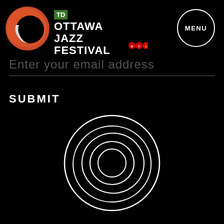[Figure (logo): TD Ottawa Jazz Festival logo with orange/red circular mark and green TD logo badge, plus MENU button circle in top right]
Enter your email address
SUBMIT
[Figure (logo): Ottawa Jazz Festival concentric circles logo in white outline, on black background, bottom center of page]